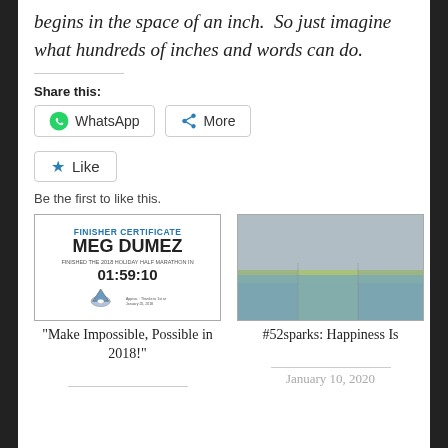begins in the space of an inch.  So just imagine what hundreds of inches and words can do.
Share this:
[Figure (screenshot): WhatsApp share button and More share button]
[Figure (screenshot): Like button with star icon]
Be the first to like this.
[Figure (photo): Finisher Certificate for Meg Dumez - Finished the 2018 Holiday Half Marathon in 01:59:10]
“Make Impossible, Possible in 2018!”
[Figure (photo): Flooded park or field with water and green grass strip, grey skies]
#52sparks: Happiness Is
January 10, 2020